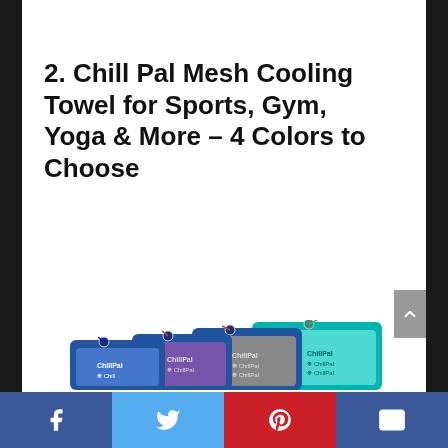2. Chill Pal Mesh Cooling Towel for Sports, Gym, Yoga & More – 4 Colors to Choose
[Figure (photo): Four Chill Pal mesh cooling towels in blue, purple, gray, and teal colors, shown in their zip-top storage pouches with carabiners, arranged in an ascending staircase pattern]
[Figure (infographic): Social share bar at bottom with Facebook, Twitter, Pinterest, and email icons]